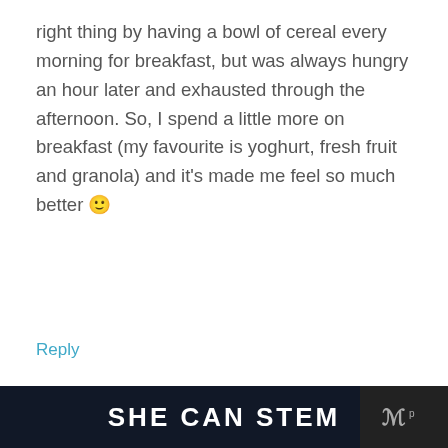right thing by having a bowl of cereal every morning for breakfast, but was always hungry an hour later and exhausted through the afternoon. So, I spend a little more on breakfast (my favourite is yoghurt, fresh fruit and granola) and it's made me feel so much better 🙂
Reply
[Figure (photo): Profile photo of Andy Hill - man with dark hair wearing navy blue shirt against wooden background]
Andy Hill  October 12, 2016
I completely agree Sarah! I used to do the same thing. Cereal with skim milk. And I would always end up be... super tired. My doctor at the time informed me that ... wasn't getting enough fat and protein in the morning to...
SHE CAN STEM